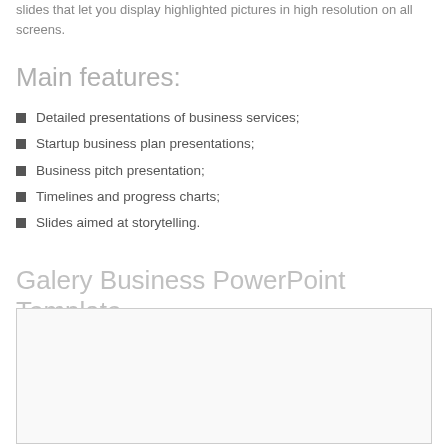slides that let you display highlighted pictures in high resolution on all screens.
Main features:
Detailed presentations of business services;
Startup business plan presentations;
Business pitch presentation;
Timelines and progress charts;
Slides aimed at storytelling.
Galery Business PowerPoint Template
[Figure (other): Empty bordered placeholder box for gallery image]